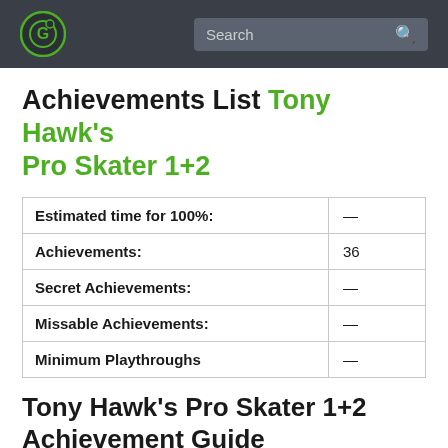Search
Achievements List Tony Hawk's Pro Skater 1+2
|  |  |
| --- | --- |
| Estimated time for 100%: | — |
| Achievements: | 36 |
| Secret Achievements: | — |
| Missable Achievements: | — |
| Minimum Playthroughs | — |
Tony Hawk's Pro Skater 1+2 Achievement Guide